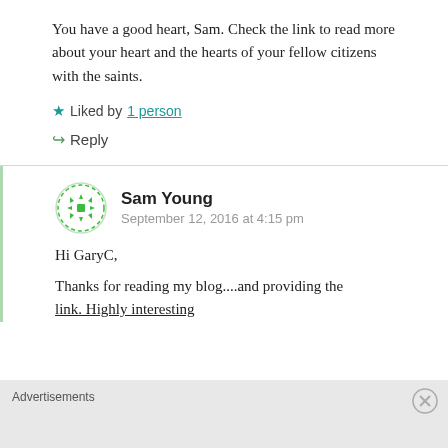You have a good heart, Sam. Check the link to read more about your heart and the hearts of your fellow citizens with the saints.
★ Liked by 1 person
↪ Reply
Sam Young
September 12, 2016 at 4:15 pm
Hi GaryC,
Thanks for reading my blog....and providing the link. Highly interesting
Advertisements